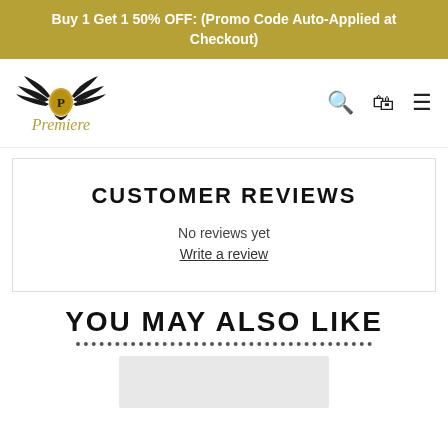Buy 1 Get 1 50% OFF: (Promo Code Auto-Applied at Checkout)
[Figure (logo): Premiere brand logo with eagle wings spread around a gold medallion with letter P, and italic gold script text 'Premiere' below]
CUSTOMER REVIEWS
No reviews yet
Write a review
YOU MAY ALSO LIKE